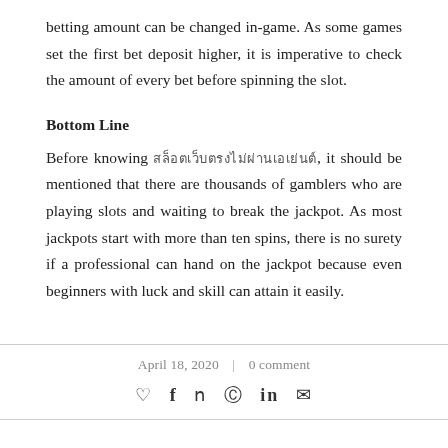betting amount can be changed in-game. As some games set the first bet deposit higher, it is imperative to check the amount of every bet before spinning the slot.
Bottom Line
Before knowing [foreign text], it should be mentioned that there are thousands of gamblers who are playing slots and waiting to break the jackpot. As most jackpots start with more than ten spins, there is no surety if a professional can hand on the jackpot because even beginners with luck and skill can attain it easily.
April 18, 2020  |  0 comment